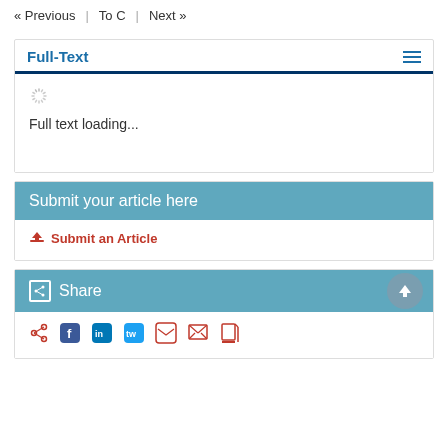« Previous  |  ToC  |  Next »
Full-Text
Full text loading...
Submit your article here
Submit an Article
Share